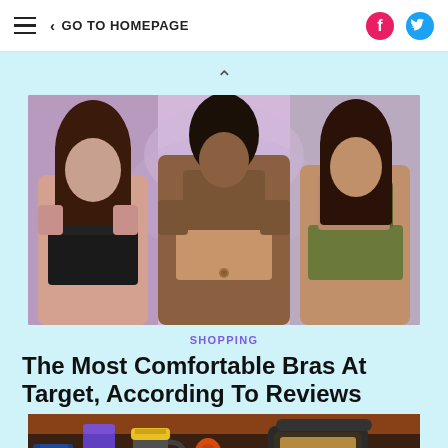≡  < GO TO HOMEPAGE  [facebook] [twitter]
[Figure (photo): Three women modeling bras against a purple floral background. Left woman wears a black sports bra, center woman wears a nude/beige bra, right woman wears an olive green bra.]
SHOPPING
The Most Comfortable Bras At Target, According To Reviews
[Figure (photo): Product photo showing outdoor/travel gear including a purple tumbler mug, a Yeti-style mug with yellow lid, and what appears to be a portable radio or speaker, against a sunset background.]